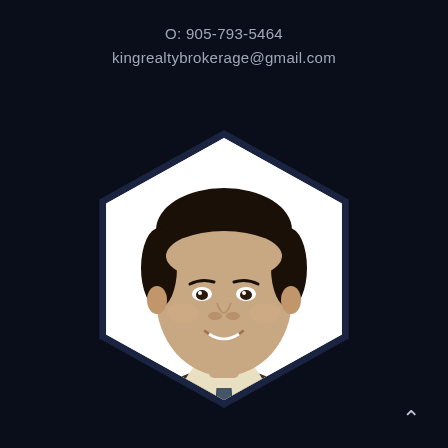O: 905-793-5464
kingrealtybrokerage@gmail.com
[Figure (photo): Headshot of a man in a dark suit and tie, smiling, displayed inside a hexagonal frame with a dark navy border on a dark background.]
^